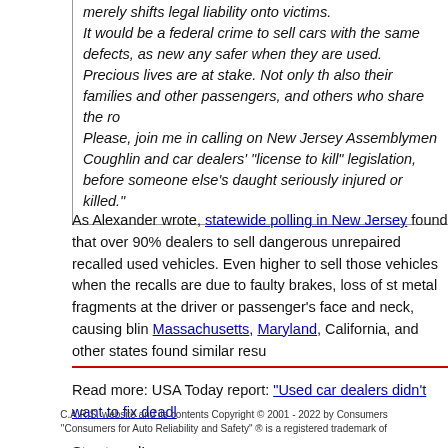merely shifts legal liability onto victims.

It would be a federal crime to sell cars with the same defects, as new any safer when they are used. Precious lives are at stake. Not only th also their families and other passengers, and others who share the ro

Please, join me in calling on New Jersey Assemblymen Coughlin and car dealers' "license to kill" legislation, before someone else's daught seriously injured or killed."
As Alexander wrote, statewide polling in New Jersey found that over 90% dealers to sell dangerous unrepaired recalled used vehicles. Even higher to sell those vehicles when the recalls are due to faulty brakes, loss of st metal fragments at the driver or passenger's face and neck, causing blin Massachusetts, Maryland, California, and other states found similar resu
Read more: USA Today report: "Used car dealers didn't want to fix deadl
Stay tuned!
C.A.R.S. website and its contents Copyright © 2001 - 2022 by Consumers "Consumers for Auto Reliability and Safety" ® is a registered trademark of